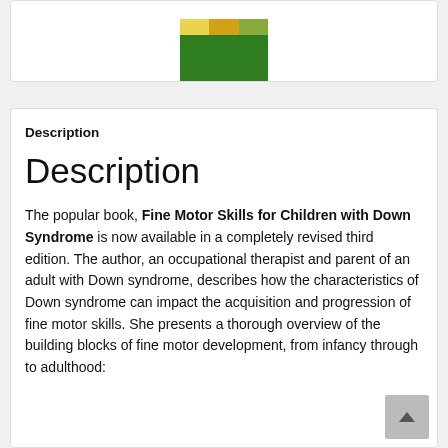[Figure (photo): Top portion of a book cover for Fine Motor Skills for Children with Down Syndrome, showing a green background with colorful photo strip at top featuring children]
Description
Description
The popular book, Fine Motor Skills for Children with Down Syndrome is now available in a completely revised third edition. The author, an occupational therapist and parent of an adult with Down syndrome, describes how the characteristics of Down syndrome can impact the acquisition and progression of fine motor skills. She presents a thorough overview of the building blocks of fine motor development, from infancy through to adulthood: